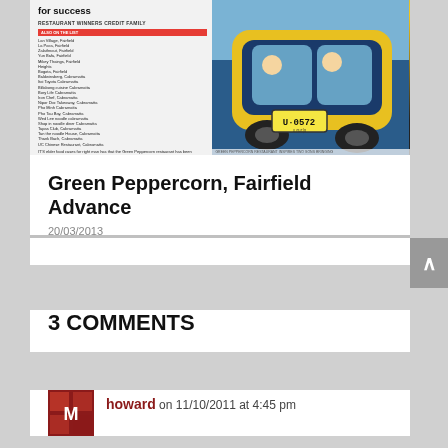[Figure (photo): Newspaper clipping showing an article with headline 'for success', subheadline 'RESTAURANT WINNERS CREDIT FAMILY', with a list of restaurants on the left and a photo of two people in a tuk-tuk with license plate U-0572 on the right]
Green Peppercorn, Fairfield Advance
20/03/2013
3 COMMENTS
howard on 11/10/2011 at 4:45 pm